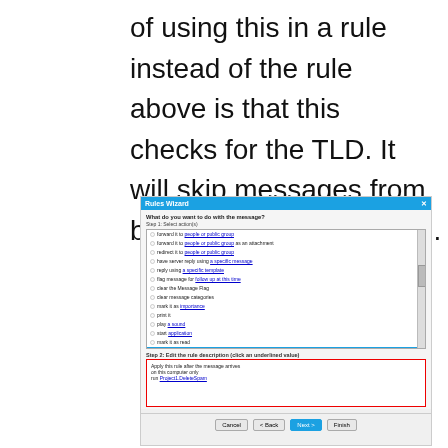of using this in a rule instead of the rule above is that this checks for the TLD. It will skip messages from bob@ny.tradesmen.com.
[Figure (screenshot): Rules Wizard dialog screenshot showing a list of rule actions with 'run a script' selected (highlighted in blue), and Step 2 showing rule description 'Apply this rule after the message arrives on this computer only run Project1.DeleteSpam' with a red border around the description box. Buttons at bottom: Cancel, < Back, Next >, Finish.]